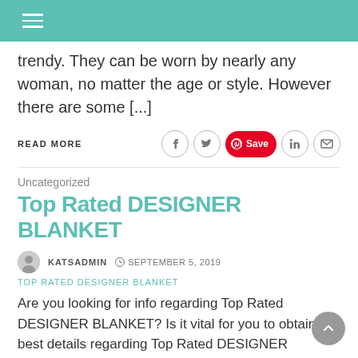trendy. They can be worn by nearly any woman, no matter the age or style. However there are some [...]
READ MORE
Uncategorized
Top Rated DESIGNER BLANKET
KATSADMIN   SEPTEMBER 5, 2019
TOP RATED DESIGNER BLANKET
Are you looking for info regarding Top Rated DESIGNER BLANKET? Is it vital for you to obtain the best details regarding Top Rated DESIGNER BLANKET ? A woman's wardrobe should contain leggings. They are comfortable, cute and always fashionable. They are worn by almost